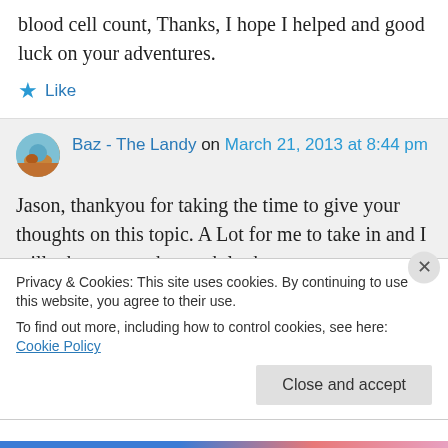blood cell count, Thanks, I hope I helped and good luck on your adventures.
★ Like
Baz - The Landy on March 21, 2013 at 8:44 pm
Jason, thankyou for taking the time to give your thoughts on this topic. A Lot for me to take in and I will take a more thorough look
Privacy & Cookies: This site uses cookies. By continuing to use this website, you agree to their use.
To find out more, including how to control cookies, see here: Cookie Policy
Close and accept